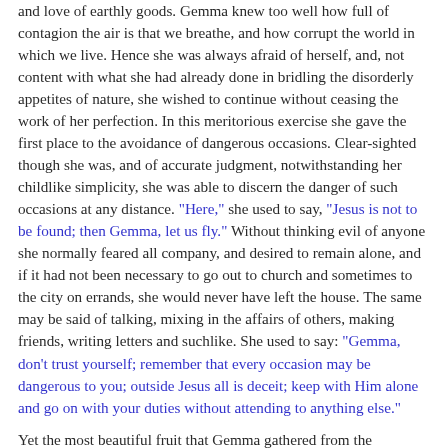and love of earthly goods. Gemma knew too well how full of contagion the air is that we breathe, and how corrupt the world in which we live. Hence she was always afraid of herself, and, not content with what she had already done in bridling the disorderly appetites of nature, she wished to continue without ceasing the work of her perfection. In this meritorious exercise she gave the first place to the avoidance of dangerous occasions. Clear-sighted though she was, and of accurate judgment, notwithstanding her childlike simplicity, she was able to discern the danger of such occasions at any distance. "Here," she used to say, "Jesus is not to be found; then Gemma, let us fly." Without thinking evil of anyone she normally feared all company, and desired to remain alone, and if it had not been necessary to go out to church and sometimes to the city on errands, she would never have left the house. The same may be said of talking, mixing in the affairs of others, making friends, writing letters and suchlike. She used to say: "Gemma, don't trust yourself; remember that every occasion may be dangerous to you; outside Jesus all is deceit; keep with Him alone and go on with your duties without attending to anything else."
Yet the most beautiful fruit that Gemma gathered from the